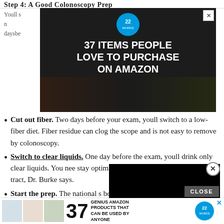Step 4: A Good Colonoscopy Prep
[Figure (screenshot): Advertisement banner: 37 Items People Love to Purchase on Amazon, with kitchen knives and food images, 22Words badge, X close button]
Youll s... daysbe...
Cut out fiber. Two days before your exam, youll switch to a low-fiber diet. Fiber residue can clog the scope and is not easy to remove by colonoscopy.
Switch to clear liquids. One day before the exam, youll drink only clear liquids. You nee... stay optimally hydrated and help... intestinal tract, Dr. Burke says.
[Figure (screenshot): Black video overlay covering right portion of screen]
Start the prep. The national s... bowel cleansing is a split-dose regimen, where you take half the prep the night before and the other half four hours before the procedure. If you have an afternoon exam, y... drink the wh... learned... rep
[Figure (screenshot): Bottom advertisement: 37 Genius Amazon Products That Can Be Used By Anyone, with product images and 22Words badge]